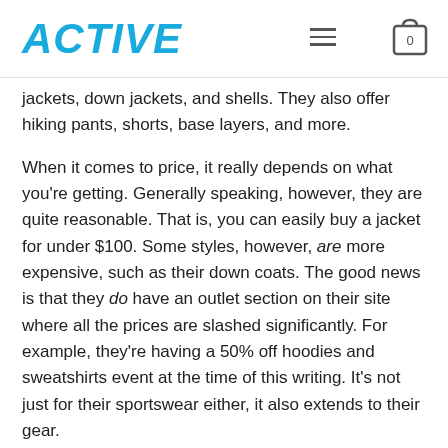ACTIVE
jackets, down jackets, and shells. They also offer hiking pants, shorts, base layers, and more.
When it comes to price, it really depends on what you’re getting. Generally speaking, however, they are quite reasonable. That is, you can easily buy a jacket for under $100. Some styles, however, are more expensive, such as their down coats. The good news is that they do have an outlet section on their site where all the prices are slashed significantly. For example, they’re having a 50% off hoodies and sweatshirts event at the time of this writing. It’s not just for their sportswear either, it also extends to their gear.
As for shipping, it’s free for all Elevated Rewards